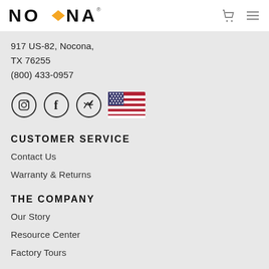NOKONA
917 US-82, Nocona,
TX 76255
(800) 433-0957
[Figure (illustration): Row of social media icons (Instagram, Facebook, Twitter circles) and a US flag icon]
CUSTOMER SERVICE
Contact Us
Warranty & Returns
THE COMPANY
Our Story
Resource Center
Factory Tours